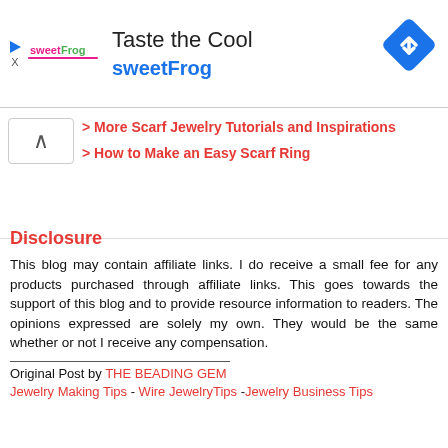[Figure (other): sweetFrog advertisement banner with logo, 'Taste the Cool' headline, sweetFrog text in blue, and blue navigation diamond icon on the right]
> More Scarf Jewelry Tutorials and Inspirations
> How to Make an Easy Scarf Ring
Disclosure
This blog may contain affiliate links. I do receive a small fee for any products purchased through affiliate links. This goes towards the support of this blog and to provide resource information to readers. The opinions expressed are solely my own. They would be the same whether or not I receive any compensation.
Original Post by THE BEADING GEM
Jewelry Making Tips - Wire JewelryTips -Jewelry Business Tips